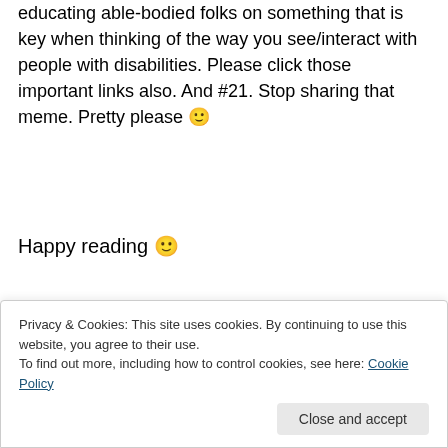educating able-bodied folks on something that is key when thinking of the way you see/interact with people with disabilities. Please click those important links also. And #21. Stop sharing that meme. Pretty please 🙂
Happy reading 🙂
Privacy & Cookies: This site uses cookies. By continuing to use this website, you agree to their use.
To find out more, including how to control cookies, see here: Cookie Policy